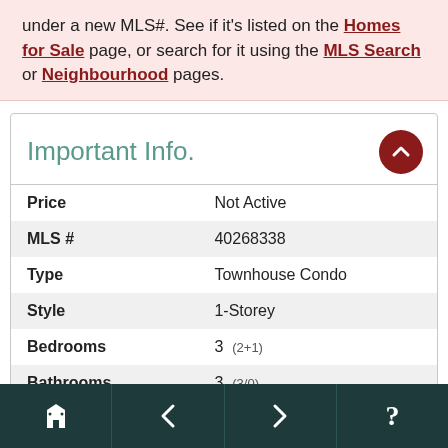under a new MLS#. See if it's listed on the Homes for Sale page, or search for it using the MLS Search or Neighbourhood pages.
Important Info.
| Field | Value |
| --- | --- |
| Price | Not Active |
| MLS # | 40268338 |
| Type | Townhouse Condo |
| Style | 1-Storey |
| Bedrooms | 3  (2+1) |
| Bathrooms | 3  (3/0) |
| Year Built | 1995 |
| Basement | Full (Finished) |
| Square Feet | 1,183 |